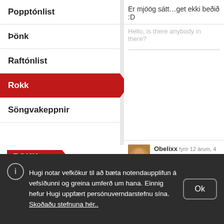Popptónlist
Þönk
Raftónlist
Rokk
Söngvakeppnir
[Figure (screenshot): Red banner label reading ROKK with chevron cutout]
13.281 eru með Rokk sem áhugamál
41.284 stig
Meira
Er mjöög sátt…get ekki beðið :D
Hello, is there anybody in there?
Obelixx fyrir 12 árum, 4 má... Langar ógeðslega, enda líklegast ekki rætast =(
Bætt við 20. apríl 2010 - 0...
btw þú ert fckin heppin/
Einmitt
Hugi notar vefkökur til að bæta notendaupplifun á vefsíðunni og greina umferð um hana. Einnig hefur Hugi uppfært persónuverndarstefnu sína. Skoðaðu stefnuna hér..